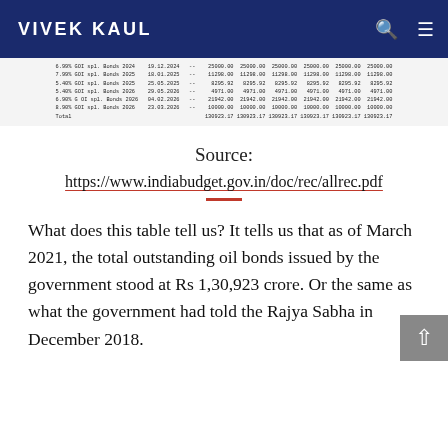VIVEK KAUL
[Figure (table-as-image): Partial table showing oil bonds data with columns for bond type, dates, and amounts. Rows include 6.99% GOI spl. Bonds 2024, 7.99% GOI spl. Bonds 2025, 5.40% GOI spl. Bonds 2025, 5.40% GOI spl. Bonds 2026, 6.90% GOI spl. Bonds 2026, 8.90% GOI spl. Bonds 2026, and Total row showing 130923.17 across multiple columns.]
Source:
https://www.indiabudget.gov.in/doc/rec/allrec.pdf
What does this table tell us? It tells us that as of March 2021, the total outstanding oil bonds issued by the government stood at Rs 1,30,923 crore. Or the same as what the government had told the Rajya Sabha in December 2018.